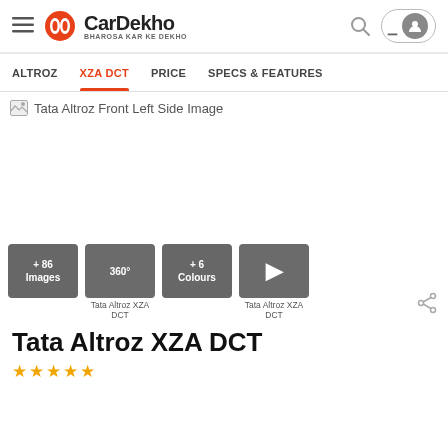[Figure (logo): CarDekho logo with hamburger menu, search icon, and user profile button in header]
CarDekho — BHAROSA KAR KE DEKHO
ALTROZ   XZA DCT   PRICE   SPECS & FEATURES
[Figure (photo): Tata Altroz Front Left Side Image (broken image placeholder)]
[Figure (photo): Thumbnail grid: +86 Images, 360° Tata Altroz XZA DCT, +6 Colours, Video Tata Altroz XZA DCT]
Tata Altroz XZA DCT
★★★★